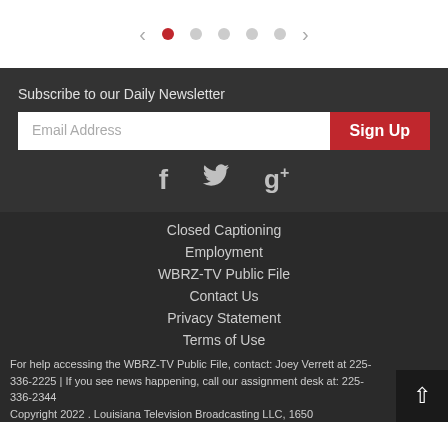[Figure (infographic): Carousel navigation with left arrow, one active red dot, four grey dots, and right arrow]
Subscribe to our Daily Newsletter
Email Address
Sign Up
[Figure (infographic): Social media icons: Facebook (f), Twitter (bird), Google+ (g+)]
Closed Captioning
Employment
WBRZ-TV Public File
Contact Us
Privacy Statement
Terms of Use
For help accessing the WBRZ-TV Public File, contact: Joey Verrett at 225-336-2225 | If you see news happening, call our assignment desk at: 225-336-2344
Copyright 2022 . Louisiana Television Broadcasting LLC, 1650